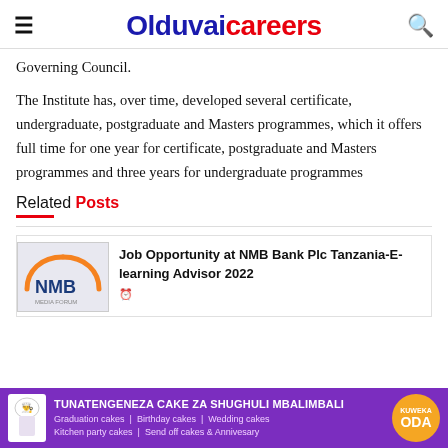Olduvaicareers
Governing Council.
The Institute has, over time, developed several certificate, undergraduate, postgraduate and Masters programmes, which it offers full time for one year for certificate, postgraduate and Masters programmes and three years for undergraduate programmes
Related Posts
Job Opportunity at NMB Bank Plc Tanzania-E-learning Advisor 2022
[Figure (illustration): NMB Bank logo with orange arc and blue text]
[Figure (illustration): Ad banner: TUNATENGENEZA CAKE ZA SHUGHULI MBALIMBALI - Graduation cakes, Birthday cakes, Wedding cakes, Kitchen party cakes, Send off cakes & Annivesary. KUWEKA ODA badge.]